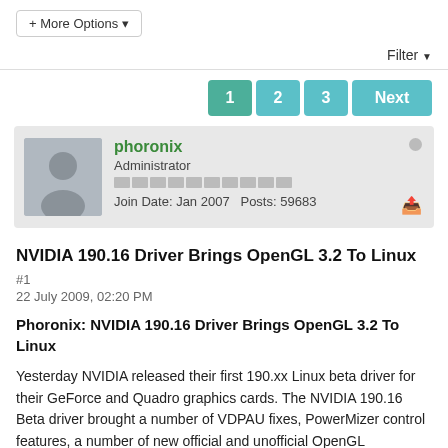+ More Options
Filter
1 2 3 Next
phoronix
Administrator
Join Date: Jan 2007   Posts: 59683
NVIDIA 190.16 Driver Brings OpenGL 3.2 To Linux #1
22 July 2009, 02:20 PM
Phoronix: NVIDIA 190.16 Driver Brings OpenGL 3.2 To Linux
Yesterday NVIDIA released their first 190.xx Linux beta driver for their GeForce and Quadro graphics cards. The NVIDIA 190.16 Beta driver brought a number of VDPAU fixes, PowerMizer control features, a number of new official and unofficial OpenGL extensions receiving GLX protocol support,